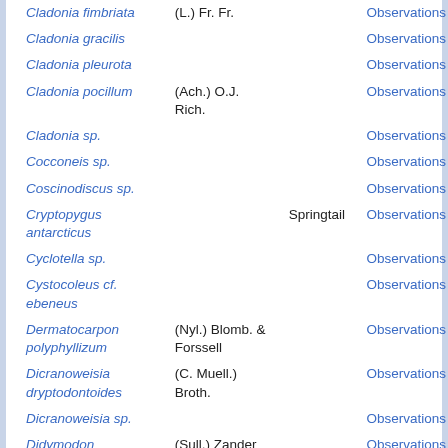| Species | Authority | Common name | Record type |
| --- | --- | --- | --- |
| Cladonia fimbriata | (L.) Fr. Fr. |  | Observations |
| Cladonia gracilis |  |  | Observations |
| Cladonia pleurota |  |  | Observations |
| Cladonia pocillum | (Ach.) O.J. Rich. |  | Observations |
| Cladonia sp. |  |  | Observations |
| Cocconeis sp. |  |  | Observations |
| Coscinodiscus sp. |  |  | Observations |
| Cryptopygus antarcticus |  | Springtail | Observations |
| Cyclotella sp. |  |  | Observations |
| Cystocoleus cf. ebeneus |  |  | Observations |
| Dermatocarpon polyphyllizum | (Nyl.) Blomb. & Forssell |  | Observations |
| Dicranoweisia dryptodontoides | (C. Muell.) Broth. |  | Observations |
| Dicranoweisia sp. |  |  | Observations |
| Didymodon brachyphyllus | (Sull.) Zander |  | Observations |
| Didymodon gelidus |  |  | Observations |
| Dimitobolus |  |  |  |